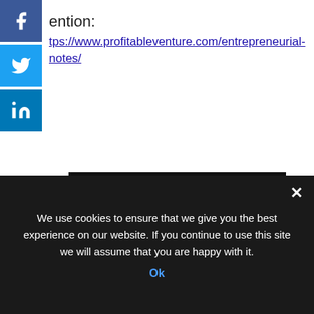ention:
https://www.profitableventure.com/entrepreneurial-notes/
[Figure (illustration): Black background motivational quote image with bold white text reading: Success is the sum of small efforts, repeated day in and day out. Made by Kushano.com]
"A business idea is just another idea. But an idea...
We use cookies to ensure that we give you the best experience on our website. If you continue to use this site we will assume that you are happy with it.